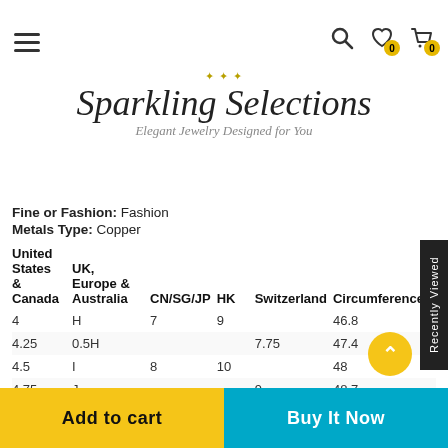Sparkling Selections — Elegant Jewelry Designed for You
Fine or Fashion: Fashion
Metals Type: Copper
| United States & Canada | UK, Europe & Australia | CN/SG/JP | HK | Switzerland | Circumference |
| --- | --- | --- | --- | --- | --- |
| 4 | H | 7 | 9 |  | 46.8 |
| 4.25 | 0.5H |  |  | 7.75 | 47.4 |
| 4.5 | I | 8 | 10 |  | 48 |
| 4.75 | J |  |  | 9 | 48.7 |
| 5 | 0.5J | 9 | 11 |  | 49.3 |
| 5.25 | K |  |  | 10 | 50 |
| 5.5 | 0.5K | 10 | 12 |  | 50.6 |